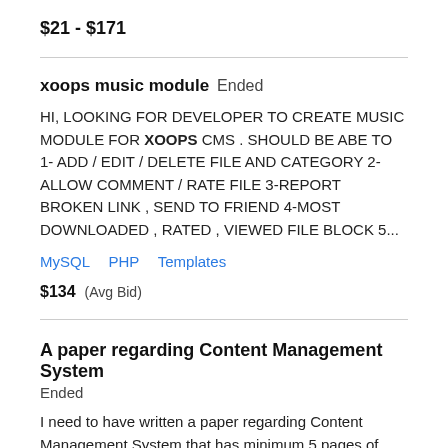$21 - $171
xoops music module  Ended
HI, LOOKING FOR DEVELOPER TO CREATE MUSIC MODULE FOR XOOPS CMS . SHOULD BE ABE TO 1- ADD / EDIT / DELETE FILE AND CATEGORY 2-ALLOW COMMENT / RATE FILE 3-REPORT BROKEN LINK , SEND TO FRIEND 4-MOST DOWNLOADED , RATED , VIEWED FILE BLOCK 5...
MySQL  PHP  Templates
$134  (Avg Bid)
A paper regarding Content Management System  Ended
I need to have written a paper regarding Content Management System that has minimum 5 pages of text. It should contain the following: - overview of CMS system -